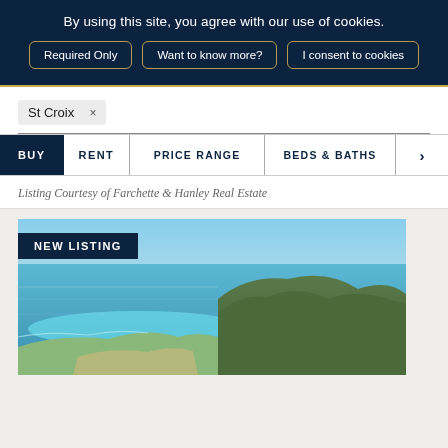By using this site, you agree with our use of cookies.
Required Only
Want to know more?
I consent to cookies
St Croix ×
BUY  RENT  PRICE RANGE  BEDS & BATHS  >
Listing Courtesy of Farchette & Hanley Real Estate
[Figure (photo): Aerial coastal photograph of St Croix showing blue ocean water, green hillside terrain, and a curved coastline under a bright blue sky, with a NEW LISTING badge overlay in the lower left corner.]